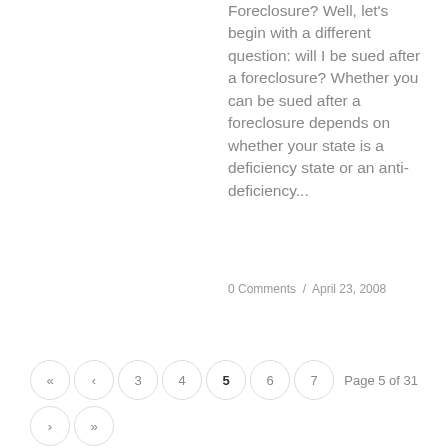Foreclosure? Well, let's begin with a different question: will I be sued after a foreclosure? Whether you can be sued after a foreclosure depends on whether your state is a deficiency state or an anti-deficiency...
0 Comments / April 23, 2008
« ‹ 3 4 5 6 7 › »   Page 5 of 31